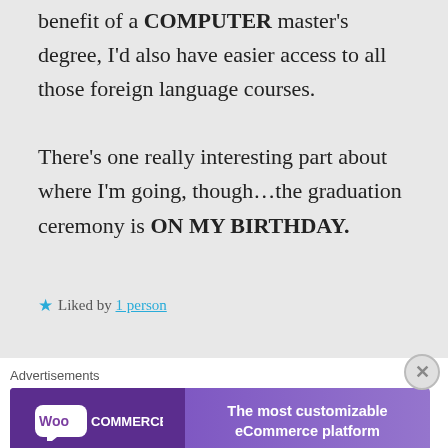benefit of a COMPUTER master’s degree, I’d also have easier access to all those foreign language courses. There's one really interesting part about where I’m going, though…the graduation ceremony is ON MY BIRTHDAY.
★ Liked by 1 person
Advertisements
[Figure (illustration): WooCommerce advertisement banner: purple gradient background, WooCommerce logo on left, text 'The most customizable eCommerce platform' on right]